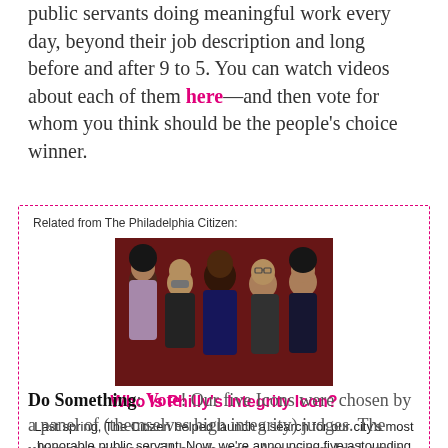public servants doing meaningful work every day, beyond their job description and long before and after 9 to 5. You can watch videos about each of them here—and then vote for whom you think should be the people's choice winner.
Related from The Philadelphia Citizen:
[Figure (photo): Group photo of five people standing together, in front of a dark red background]
Who Is Philly's Integrity Icon?
Last spring, The Citizen helped launch a search for our city's most honorable public servant. Now, we're announcing five astounding finalists—and asking you to vote for the person who most inspires you
Do Something: Vote! Our five Icons were chosen by a panel of (themselves high integrity) judges. The ultimate winner will be chosen, American Idol-style, by popular vote. Learn more about the nominees here, and then cast